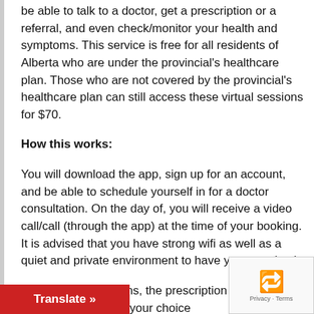be able to talk to a doctor, get a prescription or a referral, and even check/monitor your health and symptoms. This service is free for all residents of Alberta who are under the provincial's healthcare plan. Those who are not covered by the provincial's healthcare plan can still access these virtual sessions for $70.
How this works:
You will download the app, sign up for an account, and be able to schedule yourself in for a doctor consultation. On the day of, you will receive a video call/call (through the app) at the time of your booking. It is advised that you have strong wifi as well as a quiet and private environment to have your session in.
o require prescriptions, the prescription t to the pharmacy of your choice